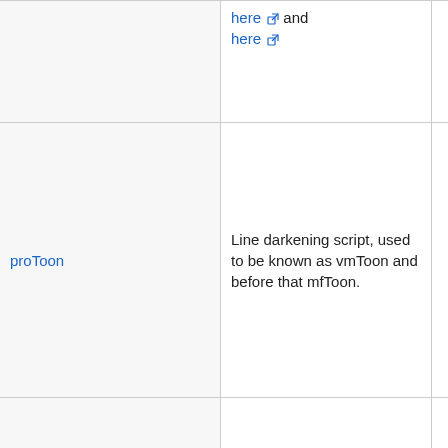| Name | Description | Version | Status |
| --- | --- | --- | --- |
|  | here and here |  |  |
| proToon | Line darkening script, used to be known as vmToon and before that mfToon. | YV12 | S |
| SuperToon | An attempt to optimize/speed up the previous versions of mfToon, vmToon, etc. See discussion | YV12 | S |
| Toon | Simple and fast line darkener. | YV12 | P |
| ToonLite | It's the same as Toon, just without the warpsharp | YV12 | P |